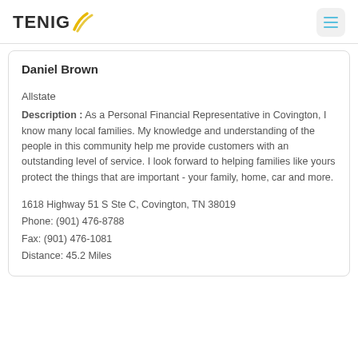TENIG
Daniel Brown
Allstate
Description : As a Personal Financial Representative in Covington, I know many local families. My knowledge and understanding of the people in this community help me provide customers with an outstanding level of service. I look forward to helping families like yours protect the things that are important - your family, home, car and more.
1618 Highway 51 S Ste C, Covington, TN 38019
Phone: (901) 476-8788
Fax: (901) 476-1081
Distance: 45.2 Miles